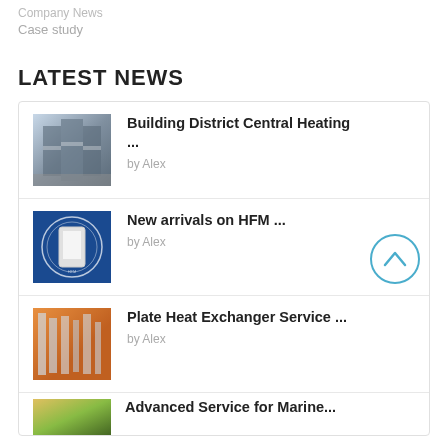Company News
Case study
LATEST NEWS
Building District Central Heating ...
by Alex
New arrivals on HFM ...
by Alex
Plate Heat Exchanger Service ...
by Alex
Advanced Service for Marine...